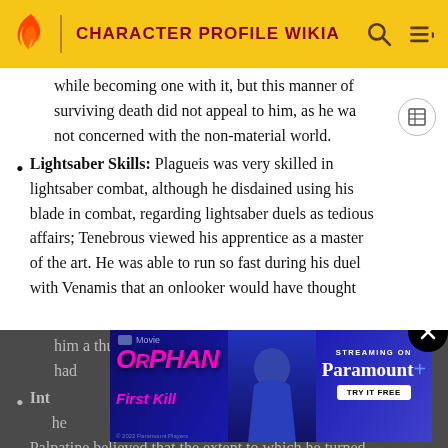CHARACTER PROFILE WIKIA
while becoming one with it, but this manner of surviving death did not appeal to him, as he was not concerned with the non-material world.
Lightsaber Skills: Plagueis was very skilled in lightsaber combat, although he disdained using his blade in combat, regarding lightsaber duels as tedious affairs; Tenebrous viewed his apprentice as a master of the art. He was able to run so fast during his duel with Venamis that an onlooker would have thought him a thunderbolt racing through the trees. Plagueis had... panic.
Intelligence: ...al, so he... Palpatine believed that the extent to which he turned
[Figure (screenshot): Advertisement for Orphan: First Kill streaming on Paramount+ with Try It Free button]